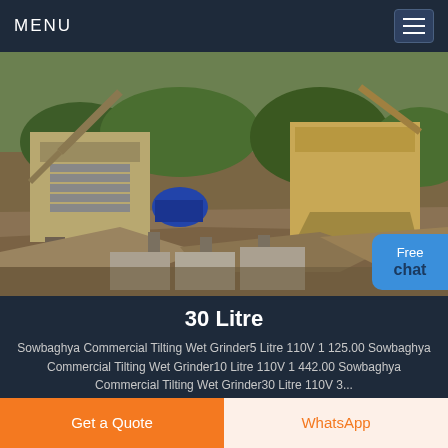MENU
[Figure (photo): Outdoor industrial quarry/crushing plant with heavy machinery including stone crushers and excavators, surrounded by rubble and earth mounds]
30 Litre
Sowbaghya Commercial Tilting Wet Grinder5 Litre 110V 1 125.00 Sowbaghya Commercial Tilting Wet Grinder10 Litre 110V 1 442.00 Sowbaghya Commercial Tilting Wet Grinder30 Litre 110V 3...
Get a Quote
WhatsApp